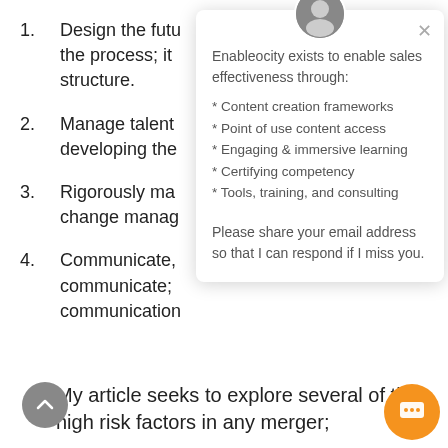1. Design the futu... the process; it ... structure.
2. Manage talent... developing the...
3. Rigorously ma... change manag...
4. Communicate,... communicate;... communication...
My article seeks to explore several of the high risk factors in any merger;
[Figure (screenshot): Chat popup from Enableocity with avatar photo of a man, close button, intro text about Enableocity's services, bulleted list of services, and a prompt asking for email address. Also includes scroll-up button and orange chat trigger button.]